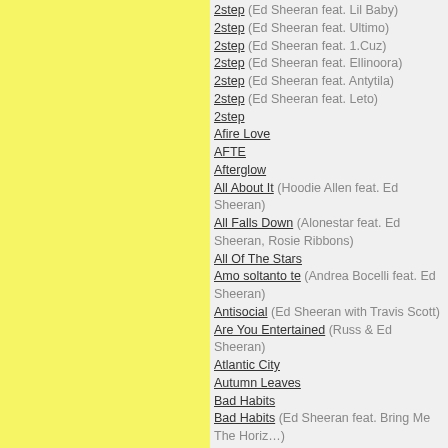2step (Ed Sheeran feat. Lil Baby)
2step (Ed Sheeran feat. Ultimo)
2step (Ed Sheeran feat. 1.Cuz)
2step (Ed Sheeran feat. Ellinoora)
2step (Ed Sheeran feat. Antytila)
2step (Ed Sheeran feat. Leto)
2step
Afire Love
AFTE
Afterglow
All About It (Hoodie Allen feat. Ed Sheeran)
All Falls Down (Alonestar feat. Ed Sheeran, Rosie Ribbons)
All Of The Stars
Amo soltanto te (Andrea Bocelli feat. Ed Sheeran)
Antisocial (Ed Sheeran with Travis Scott)
Are You Entertained (Russ & Ed Sheeran)
Atlantic City
Autumn Leaves
Bad Habits
Bad Habits (Ed Sheeran feat. Bring Me The Horizon)
Bam Bam (Camila Cabello feat. Ed Sheeran)
Barcelona
Be Like You
Be My Forever (Christina Perri feat. Ed Sheeran)
Be Right Now
Beautiful People (Ed Sheeran feat. Khalid)
Best Part Of Me (Ed Sheeran feat. Yebba)
Bibia Be Ye Ye
Bloodstream
Bloodstream (Ed Sheeran & Rudimental)
Blow (Ed Sheeran with Chris Stapleton & Bruno Mars)
Boa Me (Fuse ODG feat. Ed Sheeran & Mugeez)
Brace It (Ishawna feat. Ed Sheeran)
Candle In The Wind
Castle On The Hill
City Of Sin (The Game feat. Ed Sheeran)